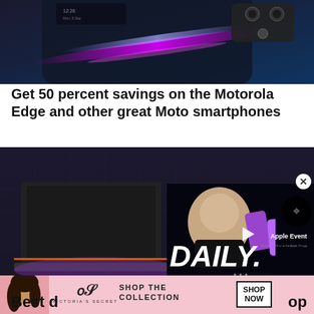[Figure (photo): Close-up photo of a Motorola Edge smartphone, showing the curved edge and rear camera module with colorful light streaks on a dark background]
Get 50 percent savings on the Motorola Edge and other great Moto smartphones
[Figure (photo): Photo of a gaming/slim laptop on a dark purple-lit surface, with a video ad overlay showing 'DAILY. Apple Event' and a presenter]
[Figure (photo): Victoria's Secret advertisement banner showing a model, VS logo, 'SHOP THE COLLECTION' text and 'SHOP NOW' button]
Best d